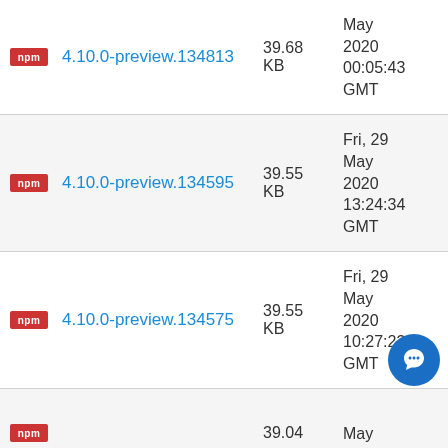|  | Package | Size | Date |
| --- | --- | --- | --- |
| npm | 4.10.0-preview.134813 | 39.68 KB | May 2020 00:05:43 GMT |
| npm | 4.10.0-preview.134595 | 39.55 KB | Fri, 29 May 2020 13:24:34 GMT |
| npm | 4.10.0-preview.134575 | 39.55 KB | Fri, 29 May 2020 10:27:23 GMT |
| npm |  | 39.04 | May |